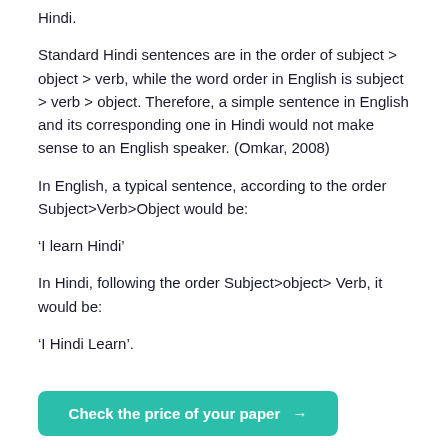Hindi.
Standard Hindi sentences are in the order of subject > object > verb, while the word order in English is subject > verb > object. Therefore, a simple sentence in English and its corresponding one in Hindi would not make sense to an English speaker. (Omkar, 2008)
In English, a typical sentence, according to the order Subject>Verb>Object would be:
‘I learn Hindi’
In Hindi, following the order Subject>object> Verb, it would be:
‘I Hindi Learn’.
Check the price of your paper →